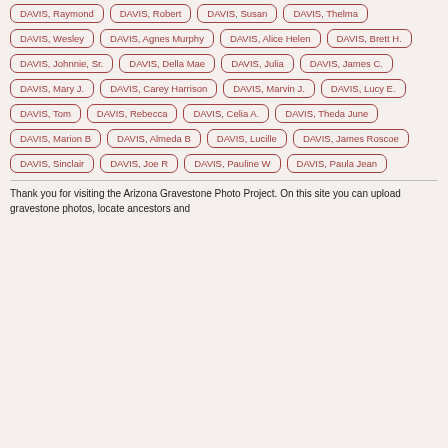DAVIS, Raymond
DAVIS, Robert
DAVIS, Susan
DAVIS, Thelma
DAVIS, Wesley
DAVIS, Agnes Murphy
DAVIS, Alice Helen
DAVIS, Brett H.
DAVIS, Johnnie, Sr.
DAVIS, Della Mae
DAVIS, Julia
DAVIS, James C.
DAVIS, Mary J.
DAVIS, Carey Harrison
DAVIS, Marvin J.
DAVIS, Lucy E.
DAVIS, Tom
DAVIS, Rebecca
DAVIS, Celia A.
DAVIS, Theda June
DAVIS, Marion B
DAVIS, Almeda B
DAVIS, Lucille
DAVIS, James Roscoe
DAVIS, Sinclair
DAVIS, Joe R
DAVIS, Pauline W
DAVIS, Paula Jean
Thank you for visiting the Arizona Gravestone Photo Project. On this site you can upload gravestone photos, locate ancestors and